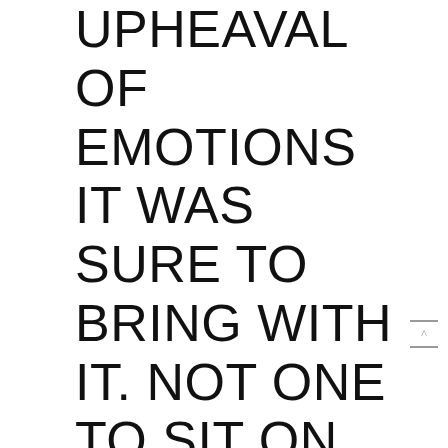UPHEAVAL OF EMOTIONS IT WAS SURE TO BRING WITH IT. NOT ONE TO SIT ON AN IDEA FOR LONG, MARJI SOON TURNED HER